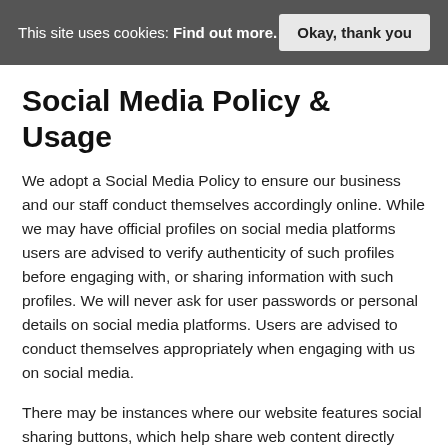This site uses cookies: Find out more.   Okay, thank you
Social Media Policy & Usage
We adopt a Social Media Policy to ensure our business and our staff conduct themselves accordingly online. While we may have official profiles on social media platforms users are advised to verify authenticity of such profiles before engaging with, or sharing information with such profiles. We will never ask for user passwords or personal details on social media platforms. Users are advised to conduct themselves appropriately when engaging with us on social media.
There may be instances where our website features social sharing buttons, which help share web content directly from web pages to the respective social media platforms.